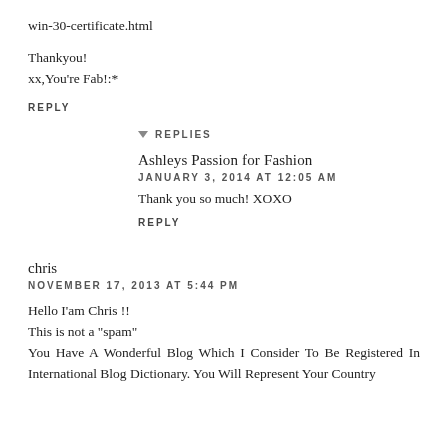win-30-certificate.html
Thankyou!
xx,You're Fab!:*
REPLY
REPLIES
Ashleys Passion for Fashion
JANUARY 3, 2014 AT 12:05 AM
Thank you so much! XOXO
REPLY
chris
NOVEMBER 17, 2013 AT 5:44 PM
Hello I'am Chris !!
This is not a "spam"
You Have A Wonderful Blog Which I Consider To Be Registered In International Blog Dictionary. You Will Represent Your Country